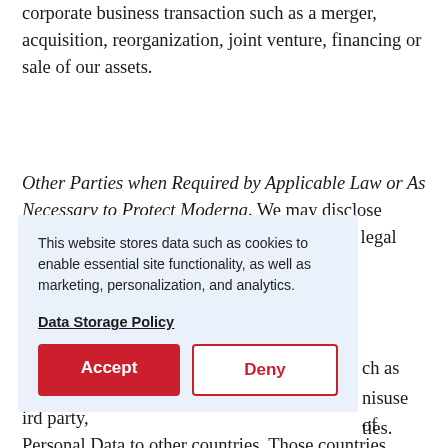corporate business transaction such as a merger, acquisition, reorganization, joint venture, financing or sale of our assets.
Other Parties when Required by Applicable Law or As Necessary to Protect Moderna. We may disclose Personal Data to a third party to comply with legal and regulatory requirements, or to [obscured by cookie banner] such as [obscured] misuse of [obscured] ties.
[Figure (other): Cookie consent banner overlay with light blue background. Contains text: 'This website stores data such as cookies to enable essential site functionality, as well as marketing, personalization, and analytics.' Followed by a bold underlined link 'Data Storage Policy' and two buttons: 'Accept' (red filled) and 'Deny' (white with red border and red text).]
[...] ird party, [...]ansfer of Personal Data to other countries. Those countries